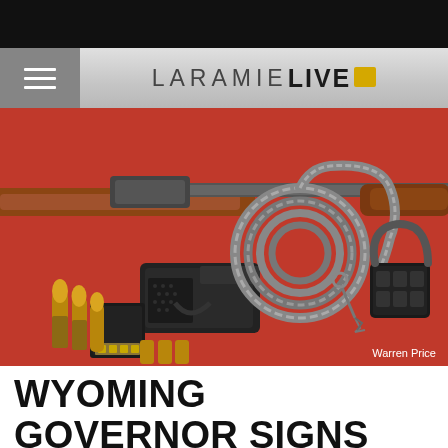LaramieLive
[Figure (photo): Photograph of a rifle, handgun, bullets, ammunition magazine, and a coiled cable gun lock with combination lock, all arranged on a red background. Photo credit: Warren Price.]
Warren Price
WYOMING GOVERNOR SIGNS SECOND AMENDMENT